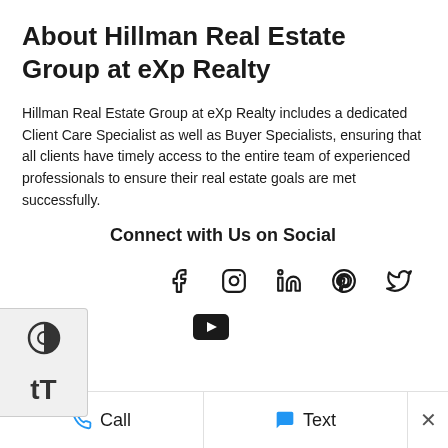About Hillman Real Estate Group at eXp Realty
Hillman Real Estate Group at eXp Realty includes a dedicated Client Care Specialist as well as Buyer Specialists, ensuring that all clients have timely access to the entire team of experienced professionals to ensure their real estate goals are met successfully.
Connect with Us on Social
[Figure (infographic): Social media icons row: Facebook, Instagram, LinkedIn, Pinterest, Twitter]
[Figure (infographic): YouTube icon]
[Figure (infographic): Accessibility toolbar overlay with contrast and font size controls]
Call | Text | ×